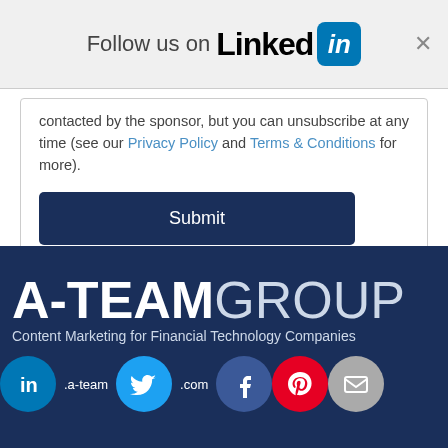[Figure (logo): Follow us on LinkedIn banner with LinkedIn logo and close button]
contacted by the sponsor, but you can unsubscribe at any time (see our Privacy Policy and Terms & Conditions for more).
[Figure (other): Submit button (dark navy blue)]
[Figure (logo): A-Team Group logo with tagline 'Content Marketing for Financial Technology Companies' and social media icons (LinkedIn, Twitter, Facebook, Pinterest, Email) on dark navy background]